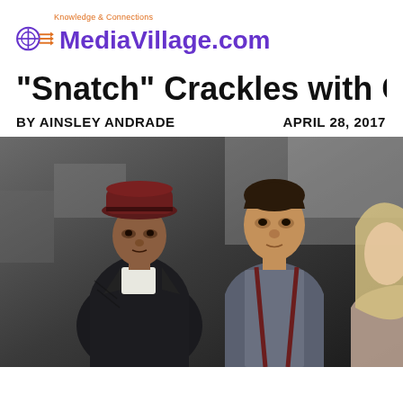Knowledge & Connections MediaVillage.com
“Snatch” Crackles with Ci…
BY AINSLEY ANDRADE   APRIL 28, 2017
[Figure (photo): Three young people standing together outdoors. On the left is a Black man wearing a dark burgundy/maroon fedora hat and a black leather jacket over a white shirt. In the center is a young man with light skin and dark hair wearing a gray shirt with burgundy suspenders. On the right, partially visible, is a young blonde woman. They appear to be on a city street.]